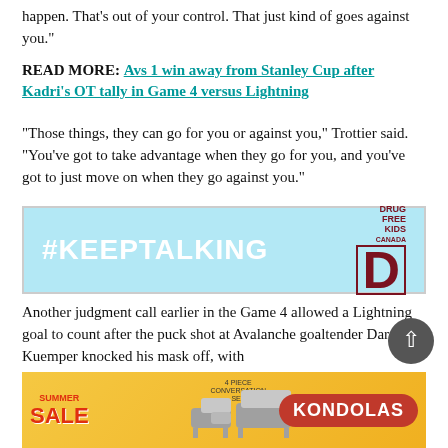happen. That’s out of your control. That just kind of goes against you.”
READ MORE: Avs 1 win away from Stanley Cup after Kadri’s OT tally in Game 4 versus Lightning
“Those things, they can go for you or against you,” Trottier said. “You’ve got to take advantage when they go for you, and you’ve got to just move on when they go against you.”
[Figure (other): #KEEPTALKING Drug Free Kids Canada advertisement banner]
Another judgment call earlier in the Game 4 allowed a Lightning goal to count after the puck shot at Avalanche goaltender Darcy Kuemper knocked his mask off, with
[Figure (other): Kondolas Summer Sale furniture advertisement banner]